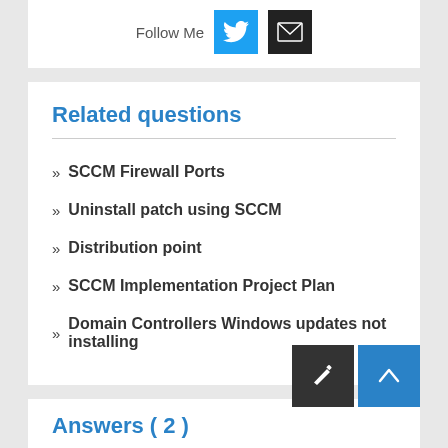Follow Me
[Figure (logo): Twitter bird icon button (blue background)]
[Figure (logo): Email envelope icon button (black background)]
Related questions
SCCM Firewall Ports
Uninstall patch using SCCM
Distribution point
SCCM Implementation Project Plan
Domain Controllers Windows updates not installing
Answers ( 2 )